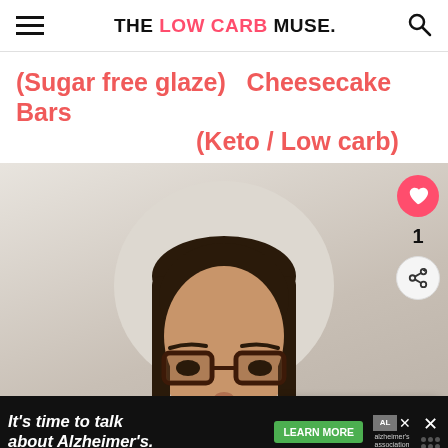THE LOW CARB MUSE.
(Sugar free glaze) Cheesecake Bars (Keto / Low carb)
[Figure (photo): Screenshot of a website page for The Low Carb Muse showing a person with glasses and dark hair, with social sharing buttons (heart/like count of 1, share button), a 'What's Next' panel showing 'How to Cook Cauliflower...' and an ad banner at the bottom reading 'It's time to talk about Alzheimer's' with a Learn More button.]